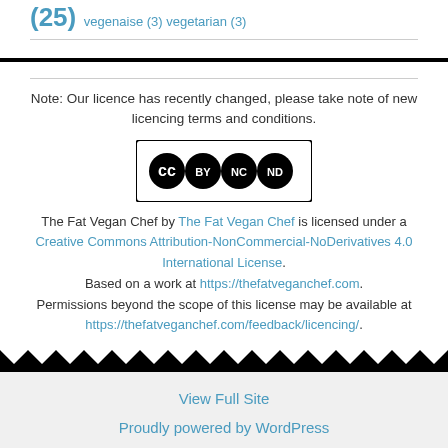(25) vegenaise (3) vegetarian (3)
Note: Our licence has recently changed, please take note of new licencing terms and conditions.
[Figure (logo): Creative Commons BY NC ND license badge]
The Fat Vegan Chef by The Fat Vegan Chef is licensed under a Creative Commons Attribution-NonCommercial-NoDerivatives 4.0 International License. Based on a work at https://thefatveganchef.com. Permissions beyond the scope of this license may be available at https://thefatveganchef.com/feedback/licencing/.
View Full Site
Proudly powered by WordPress